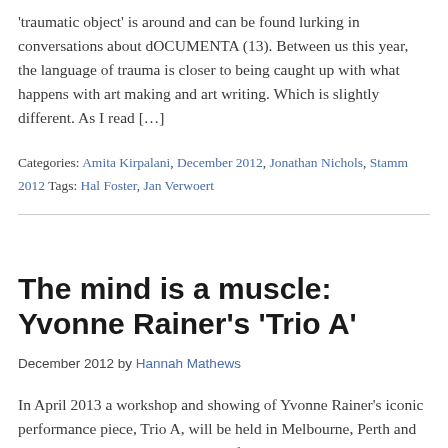'traumatic object' is around and can be found lurking in conversations about dOCUMENTA (13). Between us this year, the language of trauma is closer to being caught up with what happens with art making and art writing. Which is slightly different. As I read […]
Categories: Amita Kirpalani, December 2012, Jonathan Nichols, Stamm 2012 Tags: Hal Foster, Jan Verwoert
The mind is a muscle: Yvonne Rainer's 'Trio A'
December 2012 by Hannah Mathews
In April 2013 a workshop and showing of Yvonne Rainer's iconic performance piece, Trio A, will be held in Melbourne, Perth and Sydney. I plan to participate in the four-day workshop to be hosted by the VCA. I was